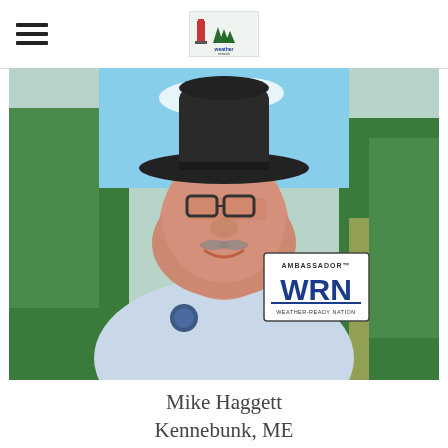Maine Weather Network header with hamburger menu and logo
[Figure (photo): Portrait photo of Mike Haggett wearing a wide-brim cowboy hat, glasses, and a light blue Penn State polo shirt, smiling outdoors with green trees in the background. A Weather-Ready Nation Ambassador badge is visible in the lower right of the photo.]
Mike Haggett
Kennebunk, ME
Certified Weather Forecaster
Penn State '21
AMS / NWA